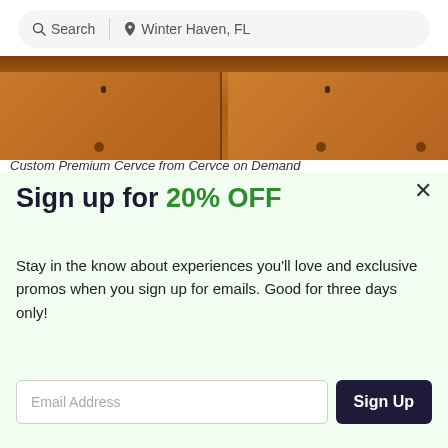Search | Winter Haven, FL
[Figure (photo): Close-up photo of a wooden dresser with drawers, warm brown wood tones, visible drawer pulls and keyholes]
Custom Premium Cervce from Cervce on Demand
Sign up for 20% OFF
Stay in the know about experiences you'll love and exclusive promos when you sign up for emails. Good for three days only!
Email Address | Sign Up
See Promotional Terms. New email subscribers only. Local category deals only. By subscribing, I agree to the Terms of Use and have read the Privacy Statement